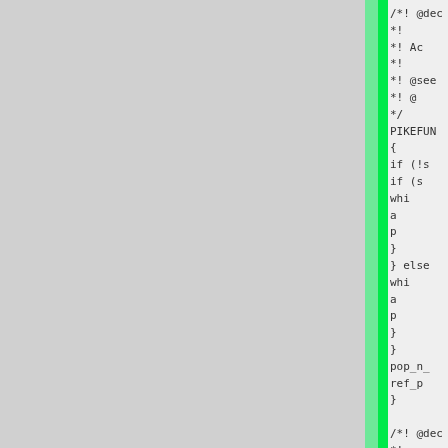[Figure (screenshot): Source code viewer showing C/Pike code with a gray left panel, bright green highlighted bar in the middle, and code text on the right. The code shows a PIKEFUN function with if/else blocks, while loops, pop_n_ and ref_pu calls, and Doxygen-style comments.]